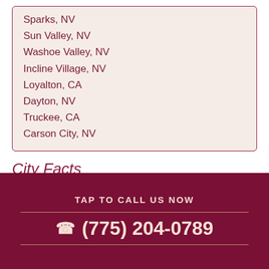Sparks, NV
Sun Valley, NV
Washoe Valley, NV
Incline Village, NV
Loyalton, CA
Dayton, NV
Truckee, CA
Carson City, NV
City Facts
| ZIP codes | 89500-89599 |
| --- | --- |
TAP TO CALL US NOW
(775) 204-0789